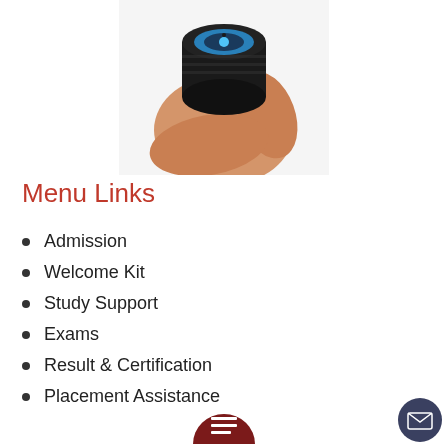[Figure (photo): A hand holding a small black device with a blue circular dial/knob on top, photographed from above against a white background.]
Menu Links
Admission
Welcome Kit
Study Support
Exams
Result & Certification
Placement Assistance
[Figure (illustration): Dark red semicircular icon at bottom center with a list/document icon inside it.]
[Figure (illustration): Dark navy circular mail/envelope icon at bottom right corner.]